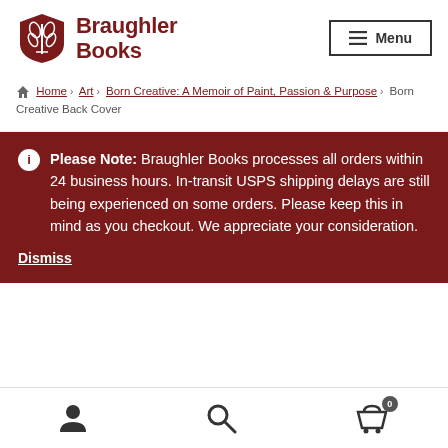[Figure (logo): Braughler Books logo with stylized book/wheat symbol in dark red and bold text 'Braughler Books']
[Figure (screenshot): Menu button with hamburger icon]
Home › Art › Born Creative: A Memoir of Paint, Passion & Purpose › Born Creative Back Cover
ℹ Please Note: Braughler Books processes all orders within 24 business hours. In-transit USPS shipping delays are still being experienced on some orders. Please keep this in mind as you checkout. We appreciate your consideration. Dismiss